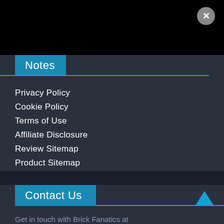[Figure (screenshot): Black top bar with grey circular close (X) button in top right corner]
Notes
Privacy Policy
Cookie Policy
Terms of Use
Affiliate Disclosure
Review Sitemap
Product Sitemap
Country Sitemap
Contact Us
Get in touch with Brick Fanatics at